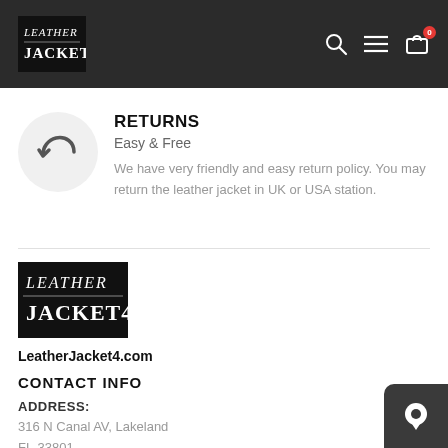Leather Jacket 4 - navigation header with logo, search, menu, and cart icons
RETURNS
Easy & Free
We have very friendly and easy return policy. You may return the leather jacket in UK or USA station.
[Figure (logo): LeatherJacket4 logo in black box with serif font]
LeatherJacket4.com
CONTACT INFO
ADDRESS:
316 N Canal AV, Lakeland
FL-33801
USA